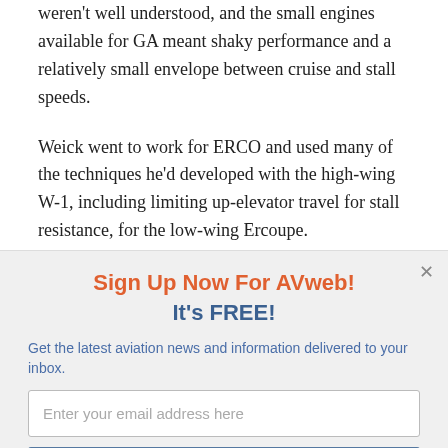weren't well understood, and the small engines available for GA meant shaky performance and a relatively small envelope between cruise and stall speeds.
Weick went to work for ERCO and used many of the techniques he'd developed with the high-wing W-1, including limiting up-elevator travel for stall resistance, for the low-wing Ercoupe.
Production continued on the original Ercoupe through 1941...
[Figure (screenshot): Modal popup overlay with 'Sign Up Now For AVweb! It's FREE!' heading, email input field, and 'Sign Me Up!' button on a light gray background.]